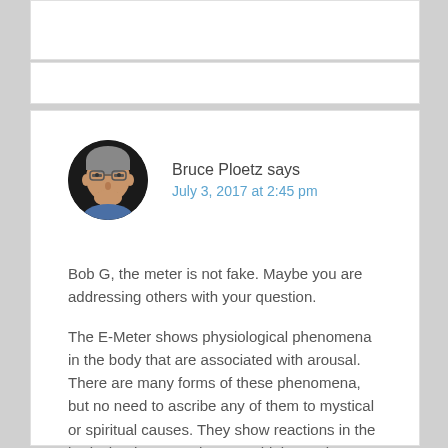Bruce Ploetz says
July 3, 2017 at 2:45 pm
Bob G, the meter is not fake. Maybe you are addressing others with your question.
The E-Meter shows physiological phenomena in the body that are associated with arousal. There are many forms of these phenomena, but no need to ascribe any of them to mystical or spiritual causes. They show reactions in the body that happen when you think certain thoughts for example, or get pinched.